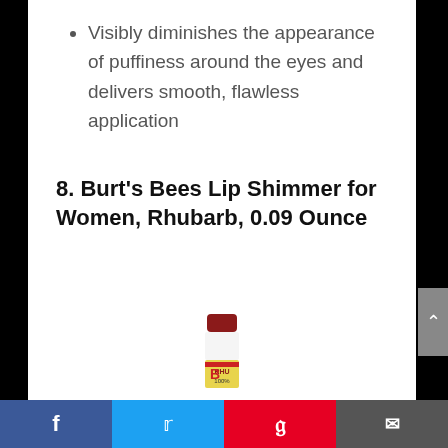Visibly diminishes the appearance of puffiness around the eyes and delivers smooth, flawless application
8. Burt's Bees Lip Shimmer for Women, Rhubarb, 0.09 Ounce
[Figure (photo): Burt's Bees Lip Shimmer product in Rhubarb shade — a small lip balm stick with dark red/crimson top and white/cream lower body with yellow label.]